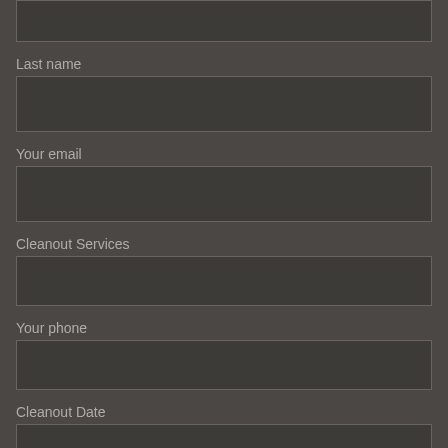[Figure (other): Empty form input field at the top of the page (clipped, no label visible)]
Last name
[Figure (other): Empty text input field for Last name]
Your email
[Figure (other): Empty text input field for Your email]
Cleanout Services
[Figure (other): Empty text input field for Cleanout Services]
Your phone
[Figure (other): Empty text input field for Your phone]
Cleanout Date
[Figure (other): Partially visible text input field for Cleanout Date (clipped at bottom)]